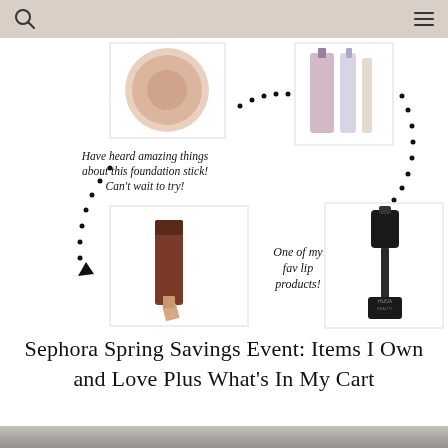[Figure (infographic): Beauty product collage showing: a foundation compact (top left), decorative dotted arrow curves, the text 'Have heard amazing things about this foundation stick! Can't wait to try!', a nail polish/beauty product set (top right), a foundation stick/lipstick product (center left), the text 'One of my fav lip products!', and a Huda Beauty liquid lip product (center right). Decorative dotted curved arrows connect the elements.]
Sephora Spring Savings Event: Items I Own and Love Plus What's In My Cart
[Figure (photo): Woman with dark hair and glasses, partial view, at bottom of page]